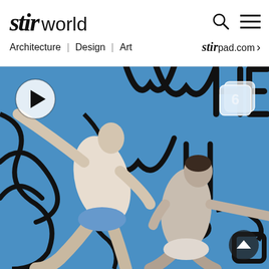stir world — Navigation header with logo, search and menu icons, Architecture | Design | Art nav links, stirpad.com link
[Figure (photo): Two male ballet dancers performing against a bright blue backdrop with large black line-drawing graffiti art. The dancers are wearing white/light costumes and are captured mid-movement with arms extended. Overlaid: a play button icon (top left), an image gallery count badge showing '6' (top right), and a scroll-to-top button (bottom right).]